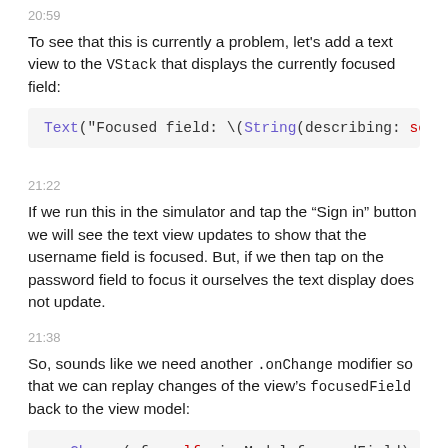20:59
To see that this is currently a problem, let's add a text view to the VStack that displays the currently focused field:
[Figure (screenshot): Code block showing: Text("Focused field: \(String(describing: sel]
21:22
If we run this in the simulator and tap the “Sign in” button we will see the text view updates to show that the username field is focused. But, if we then tap on the password field to focus it ourselves the text display does not update.
21:38
So, sounds like we need another .onChange modifier so that we can replay changes of the view’s focusedField back to the view model:
[Figure (screenshot): Code block showing: .onChange(of: self.viewModel.focusedField) { self.focusedField = newValue } .onChange(of: self.focusedField) { newValue i]